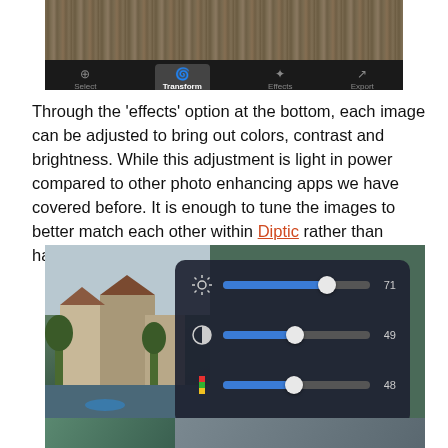[Figure (screenshot): Mobile app screenshot showing toolbar with Select, Transform (active/highlighted), Effects, and Export tabs on dark background with wood texture background.]
Through the 'effects' option at the bottom, each image can be adjusted to bring out colors, contrast and brightness. While this adjustment is light in power compared to other photo enhancing apps we have covered before. It is enough to tune the images to better match each other within Diptic rather than having to keep importing till you get it right.
[Figure (screenshot): Mobile app screenshot showing photo editing sliders panel over a lakeside village photo. Three sliders: brightness at 71, contrast at 49, saturation at 48.]